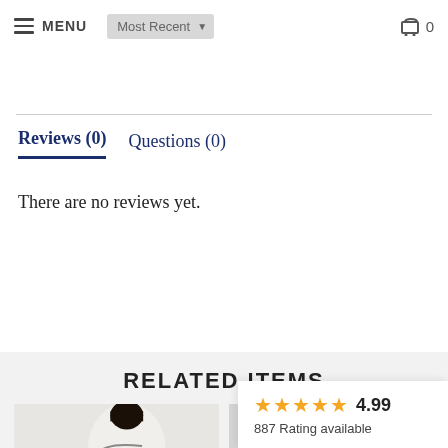MENU | Most Recent | Cart 0
Reviews (0)    Questions (0)
There are no reviews yet.
RELATED ITEMS
[Figure (photo): Product photo of woman with patterned tote bag labeled SALE]
[Figure (photo): Second product photo area labeled SALE]
4.99
887 Rating available